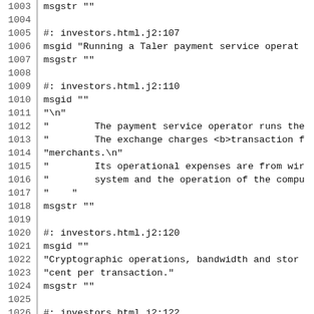1003 msgstr ""
1004 
1005 #: investors.html.j2:107
1006 msgid "Running a Taler payment service operat
1007 msgstr ""
1008 
1009 #: investors.html.j2:110
1010 msgid ""
1011 "\n"
1012 "        The payment service operator runs the
1013 "        The exchange charges <b>transaction f
1014 "merchants.\n"
1015 "        Its operational expenses are from wir
1016 "        system and the operation of the compu
1017 "    "
1018 msgstr ""
1019 
1020 #: investors.html.j2:120
1021 msgid ""
1022 "Cryptographic operations, bandwidth and stor
1023 "cent per transaction."
1024 msgstr ""
1025 
1026 #: investors.html.j2:122
1027 msgid ""
1028 "Multiple Taler transactions can be aggregate
1029 "to merchants to minimize wire transfer costs
1030 msgstr ""
1031 
1032 #: investors.html.j2:124